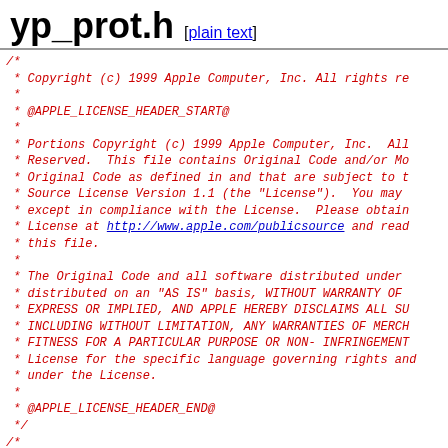yp_prot.h [plain text]
/*
 * Copyright (c) 1999 Apple Computer, Inc. All rights reserved.
 *
 * @APPLE_LICENSE_HEADER_START@
 *
 * Portions Copyright (c) 1999 Apple Computer, Inc.  All
 * Reserved.  This file contains Original Code and/or Modified
 * Original Code as defined in and that are subject to the
 * Source License Version 1.1 (the "License").  You may not
 * except in compliance with the License.  Please obtain a
 * License at http://www.apple.com/publicsource and read
 * this file.
 *
 * The Original Code and all software distributed under the
 * distributed on an "AS IS" basis, WITHOUT WARRANTY OF ANY
 * EXPRESS OR IMPLIED, AND APPLE HEREBY DISCLAIMS ALL SUCH
 * INCLUDING WITHOUT LIMITATION, ANY WARRANTIES OF MERCHANTIBILITY
 * FITNESS FOR A PARTICULAR PURPOSE OR NON- INFRINGEMENT.
 * License for the specific language governing rights and
 * under the License.
 *
 * @APPLE_LICENSE_HEADER_END@
 */
/*
 * Copyright (c) 1992, 1993 Theo de Raadt <deraadt@fsa.ca
 * All rights reserved.